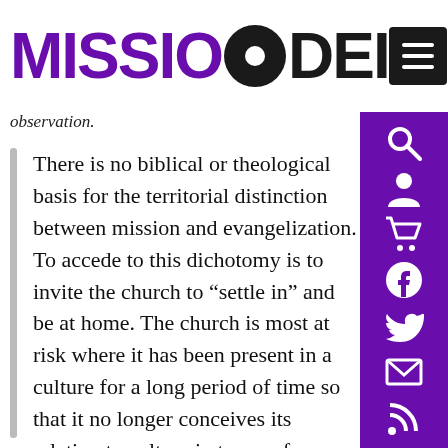MISSIO DEI
observation.
There is no biblical or theological basis for the territorial distinction between mission and evangelization. To accede to this dichotomy is to invite the church to “settle in” and be at home. The church is most at risk where it has been present in a culture for a long period of time so that it no longer conceives its relation to culture in terms of missionary encounter. The church remains socially and salvifically relevant only so long as it is in redemptive tension with culture.²⁹